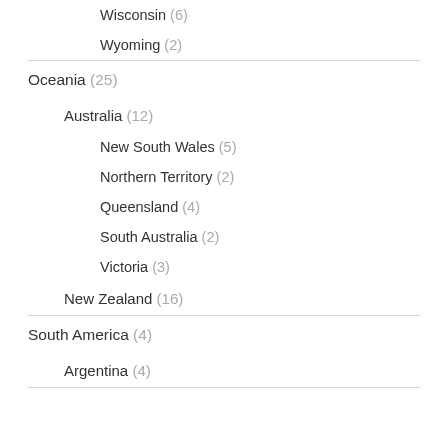Wisconsin (6)
Wyoming (2)
Oceania (25)
Australia (12)
New South Wales (5)
Northern Territory (2)
Queensland (4)
South Australia (2)
Victoria (3)
New Zealand (16)
South America (4)
Argentina (4)